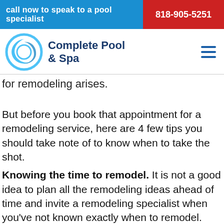call now to speak to a pool specialist 818-905-5251
[Figure (logo): Complete Pool & Spa logo with circular blue swirl graphic]
for remodeling arises.
But before you book that appointment for a remodeling service, here are 4 few tips you should take note of to know when to take the shot.
Knowing the time to remodel. It is not a good idea to plan all the remodeling ideas ahead of time and invite a remodeling specialist when you've not known exactly when to remodel. Remodeling existing pools in Saint